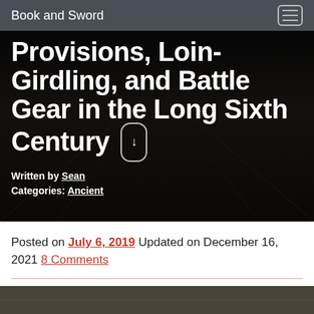Book and Sword
Provisions, Loin-Girdling, and Battle Gear in the Long Sixth Century
Written by Sean
Categories: Ancient
Posted on July 6, 2019 Updated on December 16, 2021 8 Comments
[Figure (photo): Partial view of a photograph at the bottom of the page, appears to show a historical scene]